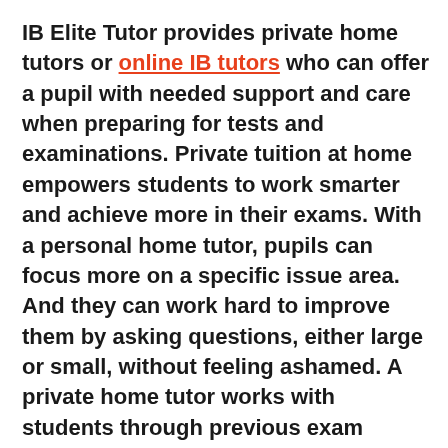IB Elite Tutor provides private home tutors or online IB tutors who can offer a pupil with needed support and care when preparing for tests and examinations. Private tuition at home empowers students to work smarter and achieve more in their exams. With a personal home tutor, pupils can focus more on a specific issue area. And they can work hard to improve them by asking questions, either large or small, without feeling ashamed. A private home tutor works with students through previous exam papers and supplies valuable methods to achieve the desired goals and objectives.